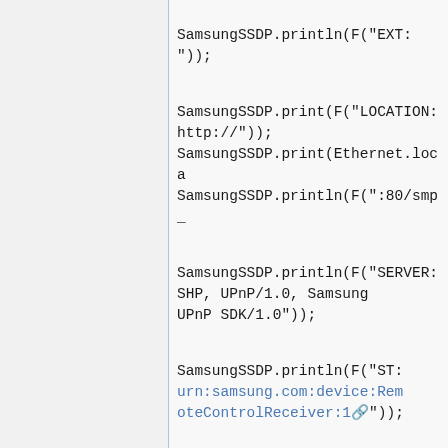SamsungSSDP.println(F("EXT: "));

SamsungSSDP.print(F("LOCATION: http://"));
SamsungSSDP.print(Ethernet.loca
SamsungSSDP.println(F(":80/smp_

SamsungSSDP.println(F("SERVER: SHP, UPnP/1.0, Samsung UPnP SDK/1.0"));

SamsungSSDP.println(F("ST: urn:samsung.com:device:RemoteControlReceiver:1"));

SamsungSSDP.println(F("USN: uuid:11111111-2222-3333-4444-555555555555::urn:samsung.com:device:RemoteControlReceiver:1"));

SamsungSSDP.println(F("Content-Length: 0"));